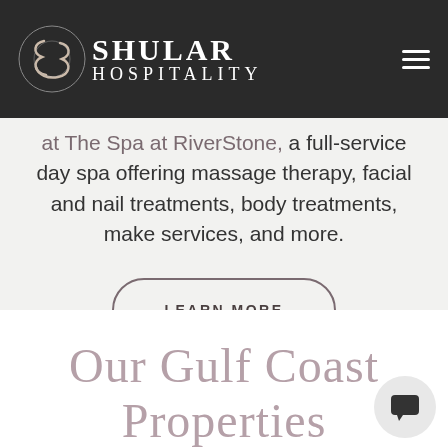[Figure (logo): Shular Hospitality logo with stylized S emblem on dark background navigation bar with hamburger menu icon]
at The Spa at RiverStone, a full-service day spa offering massage therapy, facial and nail treatments, body treatments, make services, and more.
LEARN MORE
Our Gulf Coast Properties